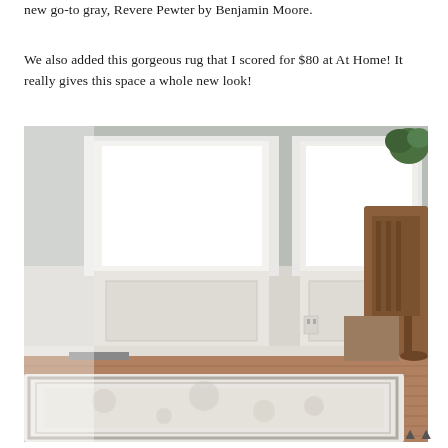new go-to gray, Revere Pewter by Benjamin Moore.
We also added this gorgeous rug that I scored for $80 at At Home! It really gives this space a whole new look!
[Figure (photo): Interior room photo showing a light gray/white patterned area rug on hardwood floors, with white wainscoting walls, two windows letting in light, and a wooden rocking chair with books/magazines on the right side. A green plant is visible in the top right corner.]